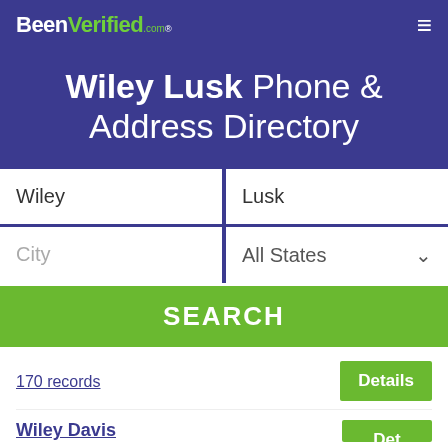BeenVerified.com
Wiley Lusk Phone & Address Directory
Wiley | Lusk
City | All States
SEARCH
170 records
Wiley Davis